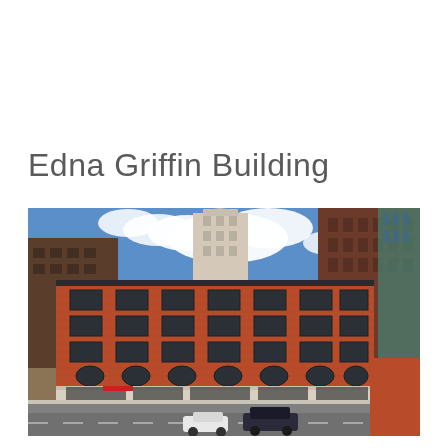Edna Griffin Building
[Figure (photo): Exterior photograph of the Edna Griffin Building, a multi-story red brick historical building in a downtown urban setting. The building has large windows arranged in a grid, arched windows on the ground floor, and modern retail storefronts at street level. Surrounding buildings include taller modern structures. A street with parked and moving cars is visible in the foreground under a blue sky with white clouds.]